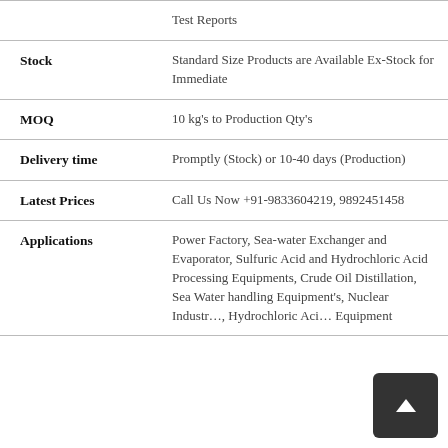| Field | Value |
| --- | --- |
|  | Test Reports |
| Stock | Standard Size Products are Available Ex-Stock for Immediate |
| MOQ | 10 kg's to Production Qty's |
| Delivery time | Promptly (Stock) or 10-40 days (Production) |
| Latest Prices | Call Us Now +91-9833604219, 9892451458 |
| Applications | Power Factory, Sea-water Exchanger and Evaporator, Sulfuric Acid and Hydrochloric Acid Processing Equipments, Crude Oil Distillation, Sea Water handling Equipment's, Nuclear Industry, Hydrochloric Acid Equipment |